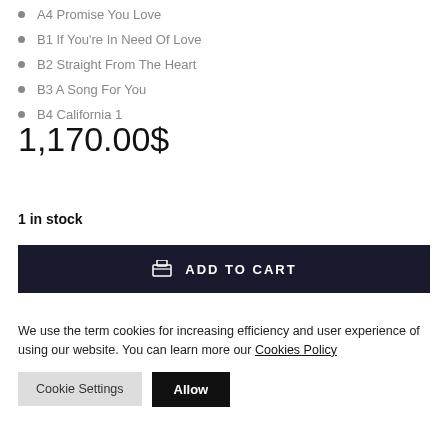A4 Promise You Love
B1 If You're In Need Of Love
B2 Straight From The Heart
B3 A Song For You
B4 California 1
1,170.00$
1 in stock
ADD TO CART
We use the term cookies for increasing efficiency and user experience of using our website. You can learn more our Cookies Policy
Cookie Settings
Allow